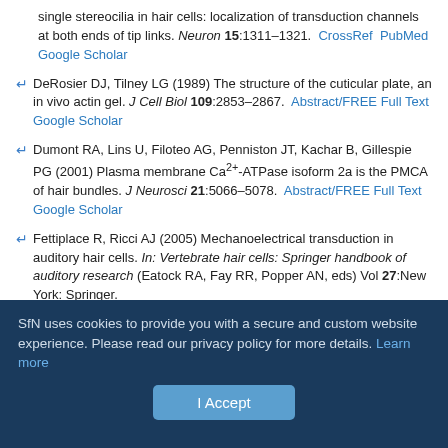single stereocilia in hair cells: localization of transduction channels at both ends of tip links. Neuron 15:1311–1321. CrossRef PubMed Google Scholar
DeRosier DJ, Tilney LG (1989) The structure of the cuticular plate, an in vivo actin gel. J Cell Biol 109:2853–2867. Abstract/FREE Full Text Google Scholar
Dumont RA, Lins U, Filoteo AG, Penniston JT, Kachar B, Gillespie PG (2001) Plasma membrane Ca2+-ATPase isoform 2a is the PMCA of hair bundles. J Neurosci 21:5066–5078. Abstract/FREE Full Text Google Scholar
Fettiplace R, Ricci AJ (2005) Mechanoelectrical transduction in auditory hair cells. In: Vertebrate hair cells: Springer handbook of auditory research (Eatock RA, Fay RR, Popper AN, eds) Vol 27:New York: Springer. Google Scholar
SfN uses cookies to provide you with a secure and custom website experience. Please read our privacy policy for more details. Learn more